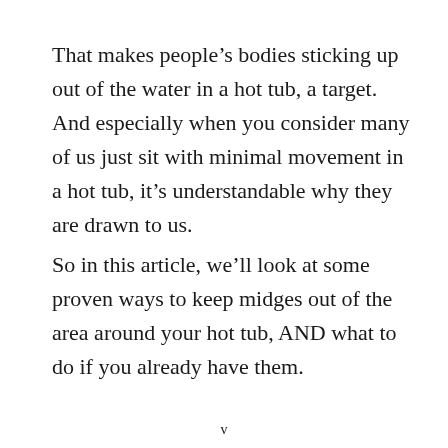That makes people's bodies sticking up out of the water in a hot tub, a target. And especially when you consider many of us just sit with minimal movement in a hot tub, it's understandable why they are drawn to us.
So in this article, we'll look at some proven ways to keep midges out of the area around your hot tub, AND what to do if you already have them.
v